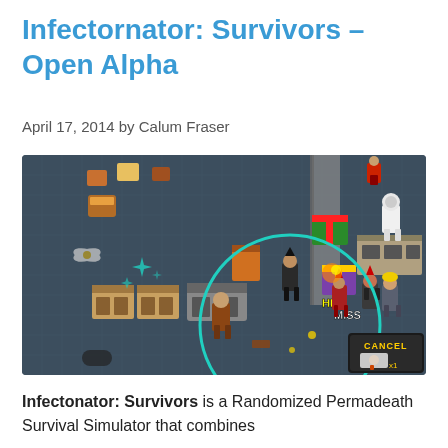Infectornator: Survivors – Open Alpha
April 17, 2014 by Calum Fraser
[Figure (screenshot): Screenshot of Infectornator: Survivors game showing isometric pixel art gameplay with survivors and zombies, a large teal circle drawn on screen indicating a selection area, and a CANCEL button in the bottom right corner.]
Infectonator: Survivors is a Randomized Permadeath Survival Simulator that combines